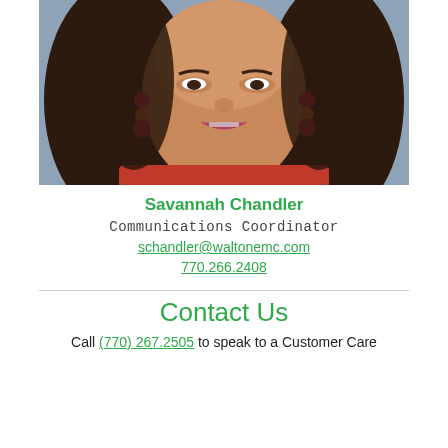[Figure (photo): Headshot photo of Savannah Chandler, a woman with long dark hair wearing red top and colorful earrings, against a blue-grey background.]
Savannah Chandler
Communications Coordinator
schandler@waltonemc.com
770.266.2408
Contact Us
Call (770) 267.2505 to speak to a Customer Care